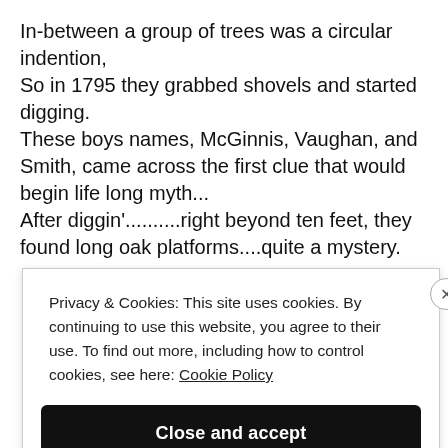In-between a group of trees was a circular indention,
So in 1795 they grabbed shovels and started digging.
These boys names, McGinnis, Vaughan, and Smith, came across the first clue that would begin life long myth...
After diggin'..........right beyond ten feet, they found long oak platforms....quite a mystery.
Privacy & Cookies: This site uses cookies. By continuing to use this website, you agree to their use. To find out more, including how to control cookies, see here: Cookie Policy
Close and accept